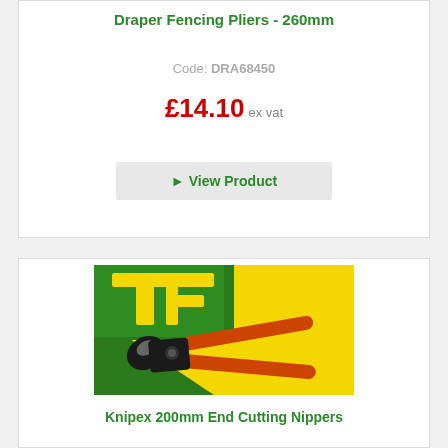Draper Fencing Pliers - 260mm
Code: DRA68450
£14.10 ex vat
View Product
[Figure (photo): Knipex 200mm End Cutting Nippers pliers on yellow and green background with TF logo]
Knipex 200mm End Cutting Nippers